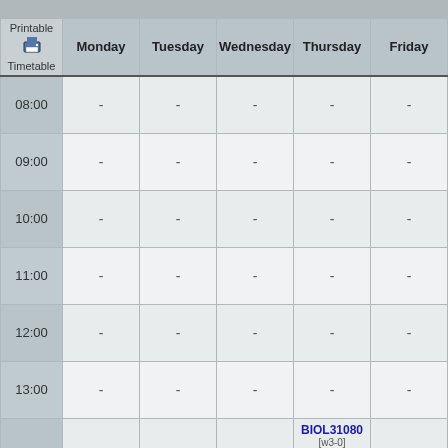| Printable Timetable | Monday | Tuesday | Wednesday | Thursday | Friday |
| --- | --- | --- | --- | --- | --- |
| 08:00 | - | - | - | - | - |
| 09:00 | - | - | - | - | - |
| 10:00 | - | - | - | - | - |
| 11:00 | - | - | - | - | - |
| 12:00 | - | - | - | - | - |
| 13:00 | - | - | - | - | - |
| 14:00 | - | - | - | BIOL31080 [w3-0] Uni Place_6.207 | - |
| 15:00 | - | - | - | BIOL31080 [w3-0] Uni Place_6.207 | - |
| 16:00 | - | - | - | - | - |